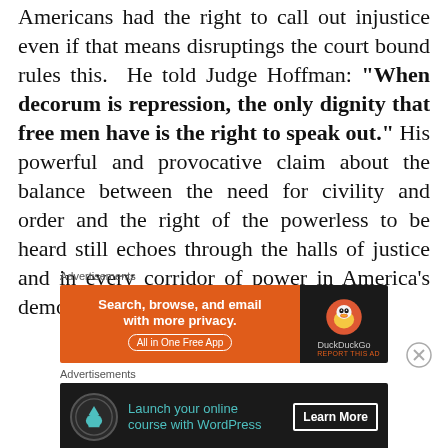Americans had the right to call out injustice even if that means disruptings the court bound rules this. He told Judge Hoffman: “When decorum is repression, the only dignity that free men have is the right to speak out.” His powerful and provocative claim about the balance between the need for civility and order and the right of the powerless to be heard still echoes through the halls of justice and in every corridor of power in America’s democracy.
[Figure (other): DuckDuckGo advertisement banner: orange section with text 'Search, browse, and email with more privacy. All in One Free App' and dark section with DuckDuckGo duck logo and brand name.]
[Figure (other): Advertisement banner for WordPress online course: dark background with circular icon, teal text 'Launch your online course with WordPress', and 'Learn More' button.]